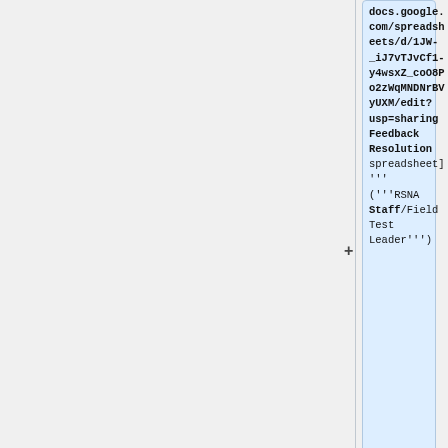docs.google.com/spreadsheets/d/1JW-_iJ7vTJvCf1-y4wsxZ_coO8Po2zWqMNDNrBVyUXM/edit?usp=sharing Feedback Resolution spreadsheet] ''' ('''RSNA Staff/Field Test Leader''')
** See the Instructions sheet in the spreadsheet for details.